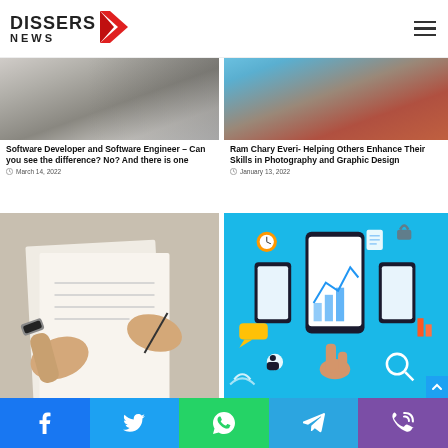DISSERS NEWS
[Figure (photo): Person working at a computer desk with monitor]
Software Developer and Software Engineer – Can you see the difference? No? And there is one
March 14, 2022
[Figure (photo): Person in red jacket holding a camera outdoors in rocky landscape]
Ram Chary Everi- Helping Others Enhance Their Skills in Photography and Graphic Design
January 13, 2022
[Figure (photo): Hands signing a document with a pen]
[Figure (infographic): Digital marketing infographic with smartphone and icons on blue background]